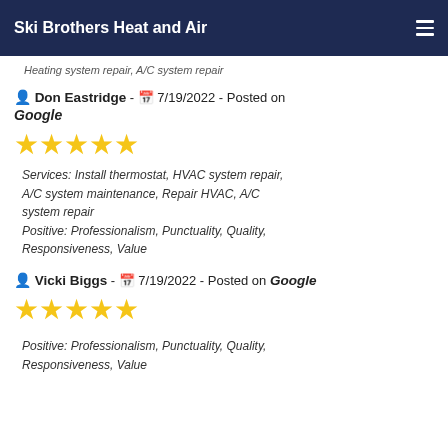Ski Brothers Heat and Air
Heating system repair, A/C system repair
Don Eastridge - 7/19/2022 - Posted on Google
[Figure (other): 5 gold stars rating]
Services: Install thermostat, HVAC system repair, A/C system maintenance, Repair HVAC, A/C system repair
Positive: Professionalism, Punctuality, Quality, Responsiveness, Value
Vicki Biggs - 7/19/2022 - Posted on Google
[Figure (other): 5 gold stars rating]
Positive: Professionalism, Punctuality, Quality, Responsiveness, Value